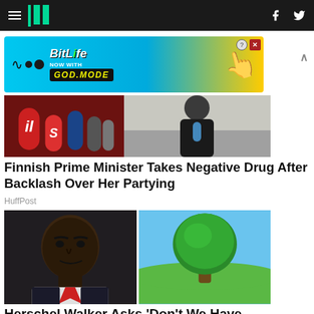HuffPost navigation bar
[Figure (screenshot): BitLife advertisement banner: NOW WITH GOD MODE]
[Figure (photo): Photo of microphones at a press conference with a woman in black]
Finnish Prime Minister Takes Negative Drug After Backlash Over Her Partying
HuffPost
[Figure (photo): Split image: left shows Herschel Walker at a podium, right shows a lone green tree on a grassy hill against blue sky]
Herschel Walker Asks 'Don't We Have